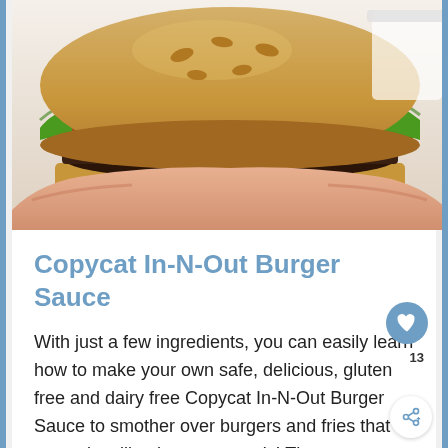[Figure (photo): A close-up photo of a burger with lettuce on a bun, held in hands, on a light background.]
Copycat In-N-Out Burger Sauce
With just a few ingredients, you can easily learn how to make your own safe, delicious, gluten free and dairy free Copycat In-N-Out Burger Sauce to smother over burgers and fries that tastes just like the restaurant's! The